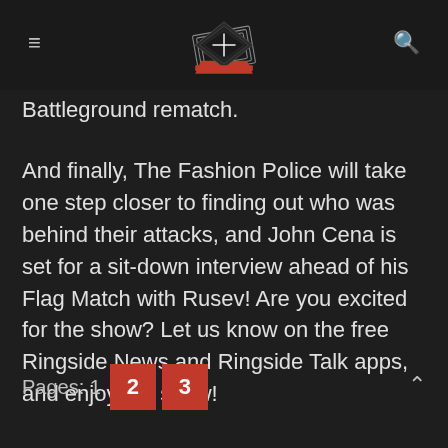[Navigation header with logo, hamburger menu, and search icon]
Battleground rematch.
And finally, The Fashion Police will take one step closer to finding out who was behind their attacks, and John Cena is set for a sit-down interview ahead of his Flag Match with Rusev! Are you excited for the show? Let us know on the free Ringside News and Ringside Talk apps, and enjoy the show!
Pages: 1 2 3